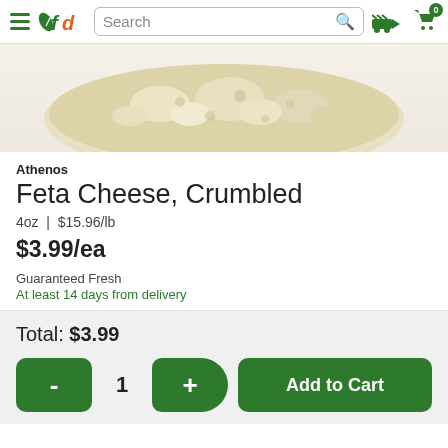fd Search | Delivery cart 0 items
[Figure (photo): Product photo of Athenos Feta Cheese Crumbled from above, showing crumbled white cheese on a light background]
Athenos
Feta Cheese, Crumbled
4oz | $15.96/lb
$3.99/ea
Guaranteed Fresh
At least 14 days from delivery
Total: $3.99
- 1 + Add to Cart